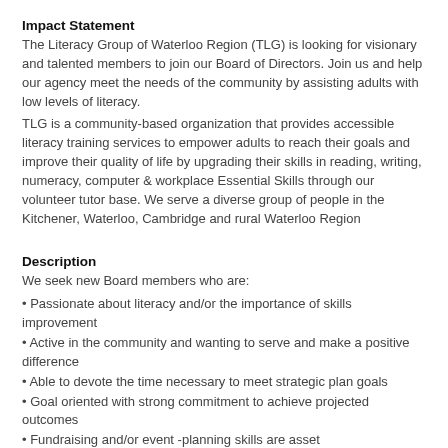Impact Statement
The Literacy Group of Waterloo Region (TLG) is looking for visionary and talented members to join our Board of Directors. Join us and help our agency meet the needs of the community by assisting adults with low levels of literacy.
TLG is a community-based organization that provides accessible literacy training services to empower adults to reach their goals and improve their quality of life by upgrading their skills in reading, writing, numeracy, computer & workplace Essential Skills through our volunteer tutor base. We serve a diverse group of people in the Kitchener, Waterloo, Cambridge and rural Waterloo Region
Description
We seek new Board members who are:
• Passionate about literacy and/or the importance of skills improvement
• Active in the community and wanting to serve and make a positive difference
• Able to devote the time necessary to meet strategic plan goals
• Goal oriented with strong commitment to achieve projected outcomes
• Fundraising and/or event -planning skills are asset